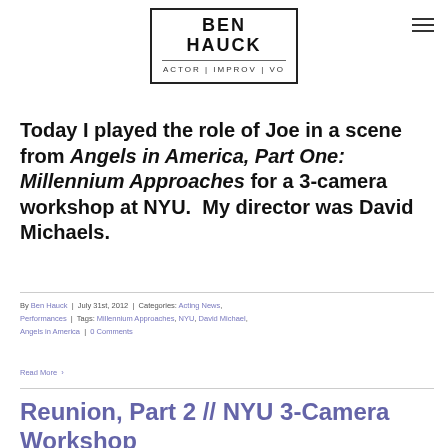[Figure (logo): Ben Hauck logo with border, name in bold, subtitle ACTOR | IMPROV | VO]
Today I played the role of Joe in a scene from Angels in America, Part One: Millennium Approaches for a 3-camera workshop at NYU.  My director was David Michaels.
By Ben Hauck | July 31st, 2012 | Categories: Acting News, Performances | Tags: Millennium Approaches, NYU, David Michael, Angels in America | 0 Comments
Read More >
Reunion, Part 2 // NYU 3-Camera Workshop